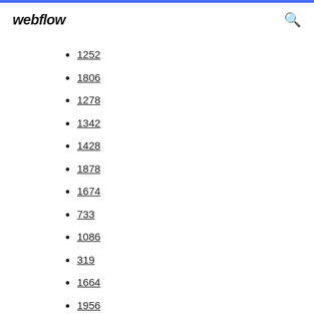webflow
1252
1806
1278
1342
1428
1878
1674
733
1086
319
1664
1956